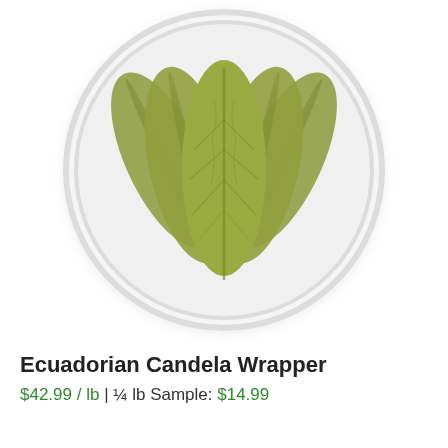[Figure (photo): Overhead view of several olive-green Ecuadorian Candela tobacco wrapper leaves fanned out on a white circular plate, on a white background.]
Ecuadorian Candela Wrapper
$42.99 / lb | ¼ lb Sample: $14.99